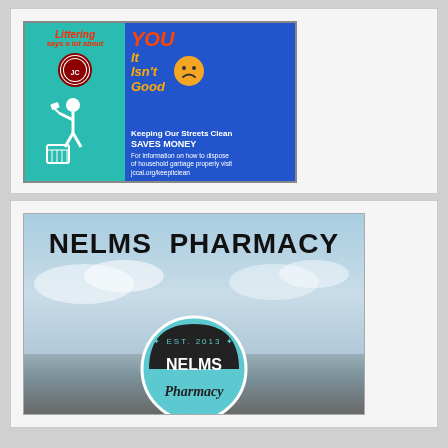[Figure (infographic): Anti-littering public awareness poster with two panels: teal left side with person throwing trash icon, blue right side with text 'Littering says a lot about YOU It Isn't Good - Keeping Our Streets Clean SAVES MONEY. For information on how to dispose of household garbage properly visit jccal.org/keepitclean'. Jefferson County logo visible.]
[Figure (photo): Nelms Pharmacy storefront photo showing building exterior with sky background. Large text 'NELMS PHARMACY' at top. Circular logo badge with 'EST. 2013 NELMS Pharmacy' in teal and dark colors.]